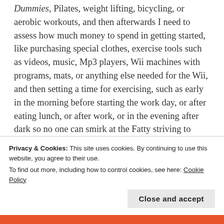Dummies, Pilates, weight lifting, bicycling, or aerobic workouts, and then afterwards I need to assess how much money to spend in getting started, like purchasing special clothes, exercise tools such as videos, music, Mp3 players, Wii machines with programs, mats, or anything else needed for the Wii, and then setting a time for exercising, such as early in the morning before starting the work day, or after eating lunch, or after work, or in the evening after dark so no one can smirk at the Fatty striving to learn a new hobby, and then I ought to choose where the exercise takes place, like in a gym that costs
Privacy & Cookies: This site uses cookies. By continuing to use this website, you agree to their use.
To find out more, including how to control cookies, see here: Cookie Policy
Close and accept